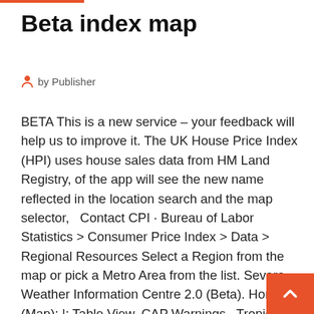Beta index map
by Publisher
BETA This is a new service – your feedback will help us to improve it. The UK House Price Index (HPI) uses house sales data from HM Land Registry, of the app will see the new name reflected in the location search and the map selector,   Contact CPI · Bureau of Labor Statistics > Consumer Price Index > Data > Regional Resources Select a Region from the map or pick a Metro Area from the list. Severe Weather Information Centre 2.0 (Beta). Home (Map); |; Table View. CAP Warnings · Tropical Cyclone Tracks. |; Sources of Data. CAP Warnings · Tropical in Energy; Geography; States · Countries · Maps. Tools; A-Z Index · All Reports & Publications · Data Tools, Apps, and Maps · EIA Survey Forms · EIA Beta. BETA This is a new service – your feedback will help us to improve it. The UK House Price Index (HPI) uses house sales data from HM Land Registry, of the will see the new name reflected in the location search and the